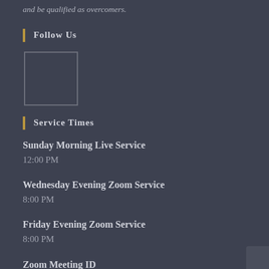and be qualified as overcomers.
Follow Us
[Figure (other): Placeholder box for social media icon or image]
Service Times
Sunday Morning Live Service
12:00 PM
Wednesday Evening Zoom Service
8:00 PM
Friday Evening Zoom Service
8:00 PM
Zoom Meeting ID
438 193 5565